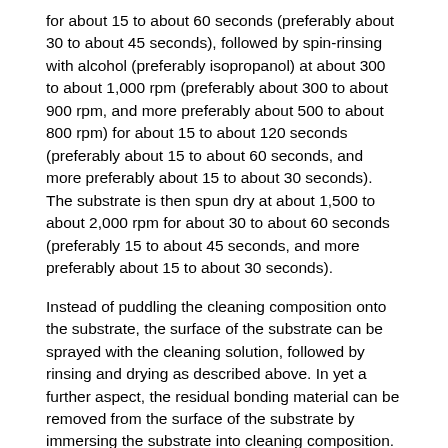for about 15 to about 60 seconds (preferably about 30 to about 45 seconds), followed by spin-rinsing with alcohol (preferably isopropanol) at about 300 to about 1,000 rpm (preferably about 300 to about 900 rpm, and more preferably about 500 to about 800 rpm) for about 15 to about 120 seconds (preferably about 15 to about 60 seconds, and more preferably about 15 to about 30 seconds). The substrate is then spun dry at about 1,500 to about 2,000 rpm for about 30 to about 60 seconds (preferably 15 to about 45 seconds, and more preferably about 15 to about 30 seconds).
Instead of puddling the cleaning composition onto the substrate, the surface of the substrate can be sprayed with the cleaning solution, followed by rinsing and drying as described above. In yet a further aspect, the residual bonding material can be removed from the surface of the substrate by immersing the substrate into cleaning composition. Preferably, the substrate is immersed into the cleaning composition for about 1 min. to about 10 min. (preferably about 1 min. to about 5 min., and more preferably about 2 min. to about 5 min.). Immersion can be repeated as needed until the bonding material is